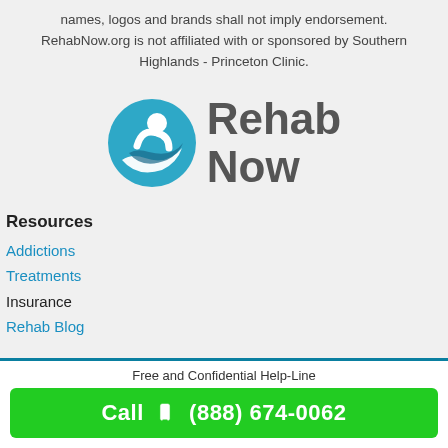names, logos and brands shall not imply endorsement. RehabNow.org is not affiliated with or sponsored by Southern Highlands - Princeton Clinic.
[Figure (logo): RehabNow logo: blue circular icon with stylized person figure, next to bold gray text reading 'Rehab Now']
Resources
Addictions
Treatments
Insurance
Rehab Blog
Free and Confidential Help-Line
Call  (888) 674-0062